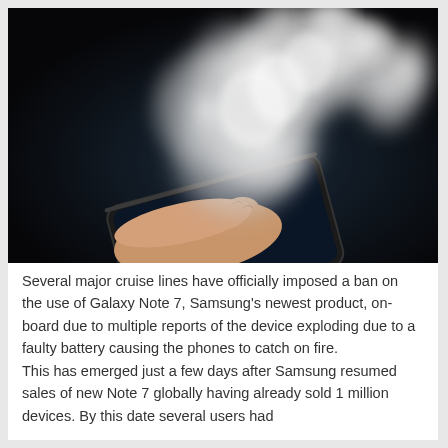[Figure (photo): A hand holding a Samsung Galaxy Note 7 smartphone with large white smoke clouds billowing upward from the device, set against a dark background, illustrating the phone catching fire.]
Several major cruise lines have officially imposed a ban on the use of Galaxy Note 7, Samsung's newest product, on-board due to multiple reports of the device exploding due to a faulty battery causing the phones to catch on fire. This has emerged just a few days after Samsung resumed sales of new Note 7 globally having already sold 1 million devices. By this date several users had